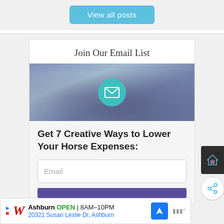[Figure (screenshot): View all posts button - teal/blue rounded button]
Join Our Email List
[Figure (illustration): Blue-toned image of a horse with a teal circle mail icon overlay]
Get 7 Creative Ways to Lower Your Horse Expenses:
Email
[Figure (screenshot): Purple submit button (partially visible)]
[Figure (screenshot): Right sidebar icons: dark home/heart icon and share icon]
Ashburn OPEN 8AM-10PM 20321 Susan Leslie Dr, Ashburn